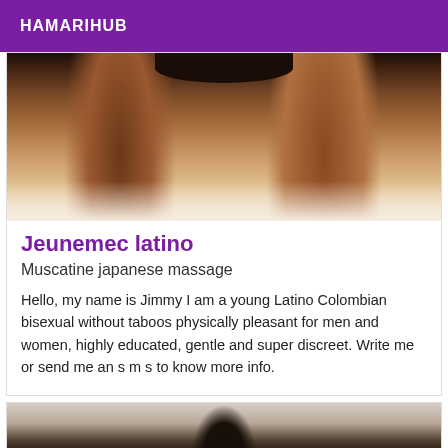HAMARIHUB
[Figure (photo): Close-up photo of dark-skinned legs wearing dark underwear/shorts, against a light background.]
Jeunemec latino
Muscatine japanese massage
Hello, my name is Jimmy I am a young Latino Colombian bisexual without taboos physically pleasant for men and women, highly educated, gentle and super discreet. Write me or send me an s m s to know more info.
[Figure (photo): Partial view of another listing photo showing a figure.]